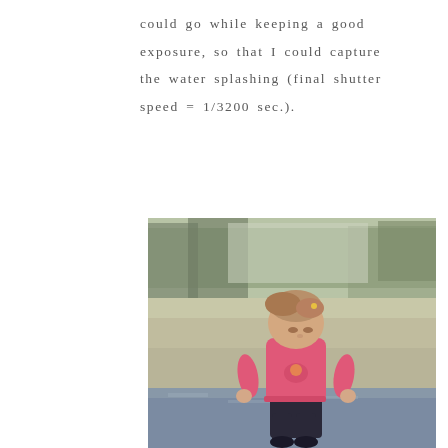could go while keeping a good exposure, so that I could capture the water splashing (final shutter speed = 1/3200 sec.).
[Figure (photo): A young toddler girl wearing a pink long-sleeve top and dark pants, standing outdoors in shallow water or wet ground. She is looking downward. The background shows muted grass, bare trees, and a blurred natural landscape with warm/muted tones.]